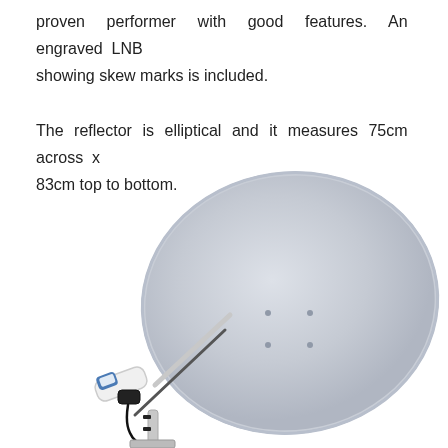proven performer with good features. An engraved LNB showing skew marks is included.

The reflector is elliptical and it measures 75cm across x 83cm top to bottom.
[Figure (photo): A satellite dish with an elliptical reflector (75cm x 83cm) mounted on a pole, with an LNB (Low Noise Block downconverter) attached to an arm on the left side. The dish is light grey/white, and the LNB is white with black mounting hardware.]